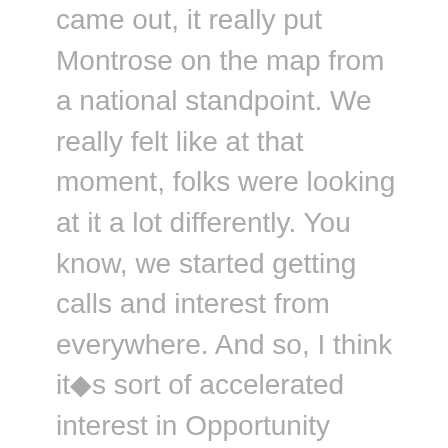came out, it really put Montrose on the map from a national standpoint. We really felt like at that moment, folks were looking at it a lot differently. You know, we started getting calls and interest from everywhere. And so, I think it�s sort of accelerated interest in Opportunity Zones certainly, and Western Colorado primarily.
Jimmy: �Good. So, actually let�s back up here for a minute. A question for both of you. Can you quickly tell me a little bit more about yourselves, your background, your previous experience, and how you came to work on this project?
David: �Sure. So, my background, I have two